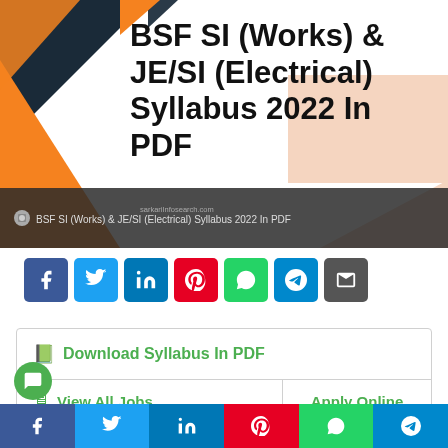[Figure (illustration): Hero banner with geometric triangles in dark teal, orange, and peach on white background. Text overlay reads 'BSF SI (Works) & JE/SI (Electrical) Syllabus 2022 In PDF'. Bottom strip shows camera icon and caption text.]
BSF SI (Works) & JE/SI (Electrical) Syllabus 2022 In PDF
[Figure (infographic): Row of social media share buttons: Facebook (blue), Twitter (light blue), LinkedIn (dark blue), Pinterest (red), WhatsApp (green), Telegram (blue), Email (dark gray)]
Download Syllabus In PDF
View All Jobs
Apply Online